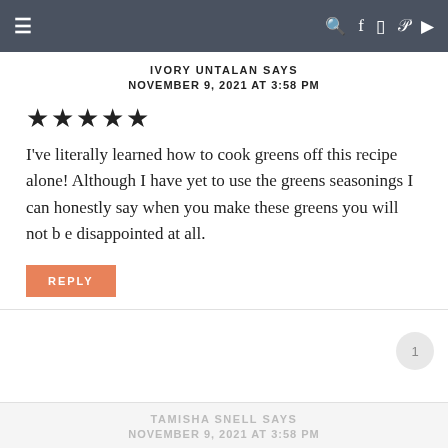≡  🔍 f 📷 𝗣 ▶
IVORY UNTALAN SAYS
NOVEMBER 9, 2021 AT 3:58 PM
[Figure (other): 5 filled star rating icons]
I've literally learned how to cook greens off this recipe alone! Although I have yet to use the greens seasonings I can honestly say when you make these greens you will not b e disappointed at all.
REPLY
TAMISHA SNELL SAYS
NOVEMBER 9, 2021 AT 3:58 PM